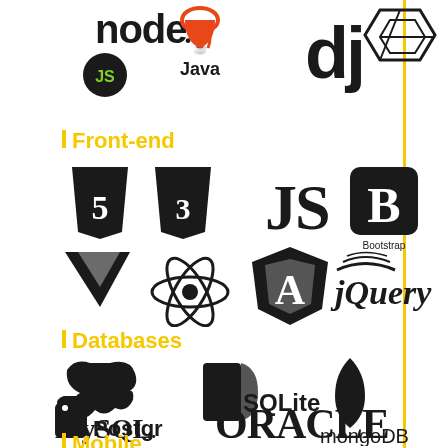[Figure (logo): Technology logos: Node.js, Java, Django (dj), Laravel — backend frameworks]
Front-end
[Figure (logo): Front-end technology logos: HTML5, CSS3, JavaScript, Bootstrap, Vue.js, React, Angular, jQuery]
Databases
[Figure (logo): Database logos: MySQL, SQLite, MongoDB, PostgreSQL, Oracle]
Mobile